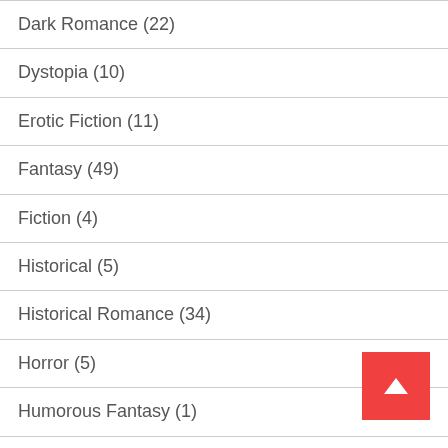Dark Romance (22)
Dystopia (10)
Erotic Fiction (11)
Fantasy (49)
Fiction (4)
Historical (5)
Historical Romance (34)
Horror (5)
Humorous Fantasy (1)
Mafia Romance (5)